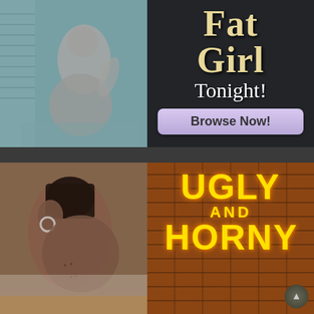[Figure (photo): Grayscale/teal-tinted photo of a nude figure viewed from behind, sitting on a bed near a window with blinds]
[Figure (infographic): Dark advertisement banner with text 'Fat Girl Tonight!' and a 'Browse Now!' button on lavender background]
[Figure (photo): Photo of a woman with dark hair, hoop earrings, and tattoos on her back, facing sideways]
[Figure (infographic): Advertisement with brick background showing text 'UGLY AND HORNY' in glowing yellow letters]